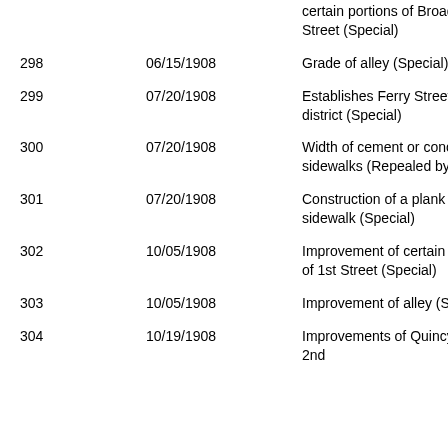| Number | Date | Description |
| --- | --- | --- |
|  |  | certain portions of Broadway Street (Special) |
| 298 | 06/15/1908 | Grade of alley (Special) |
| 299 | 07/20/1908 | Establishes Ferry Street sewer district (Special) |
| 300 | 07/20/1908 | Width of cement or concrete sidewalks (Repealed by 1281) |
| 301 | 07/20/1908 | Construction of a plank sidewalk (Special) |
| 302 | 10/05/1908 | Improvement of certain portions of 1st Street (Special) |
| 303 | 10/05/1908 | Improvement of alley (Special) |
| 304 | 10/19/1908 | Improvements of Quincy and 2nd |